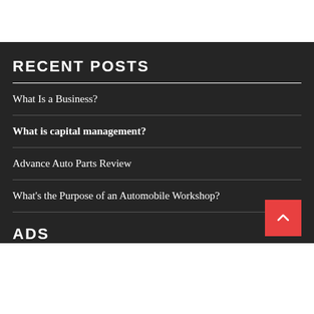RECENT POSTS
What Is a Business?
What is capital management?
Advance Auto Parts Review
What's the Purpose of an Automobile Workshop?
ADS